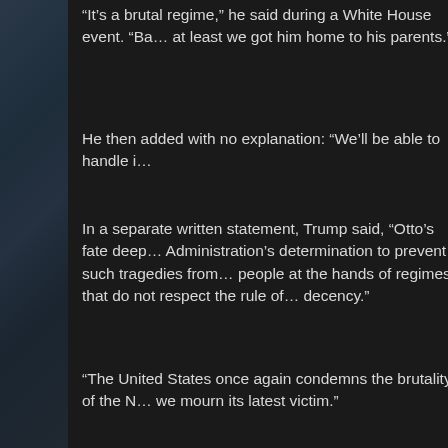“It’s a brutal regime,” he said during a White House event. “Ba... at least we got him home to his parents.”
He then added with no explanation: “We’ll be able to handle i...
In a separate written statement, Trump said, “Otto’s fate deep... Administration’s determination to prevent such tragedies from... people at the hands of regimes that do not respect the rule of... decency.”
“The United States once again condemns the brutality of the N... we mourn its latest victim.”
Added Secretary of State Rex Tillerson:“We hold North Korea... Warmbier’s unjust imprisonment, and demand the release of... who have been illegally detained.”